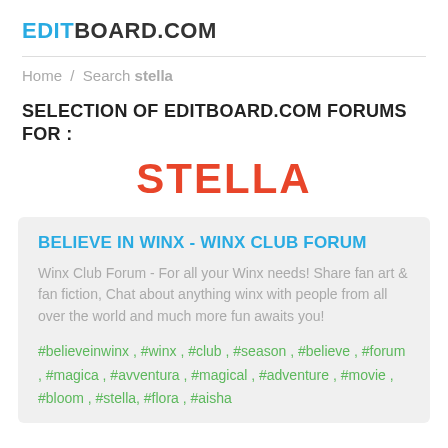EDITBOARD.COM
Home / Search stella
SELECTION OF EDITBOARD.COM FORUMS FOR :
STELLA
BELIEVE IN WINX - WINX CLUB FORUM
Winx Club Forum - For all your Winx needs! Share fan art & fan fiction, Chat about anything winx with people from all over the world and much more fun awaits you!
#believeinwinx , #winx , #club , #season , #believe , #forum , #magica , #avventura , #magical , #adventure , #movie , #bloom , #stella, #flora , #aisha